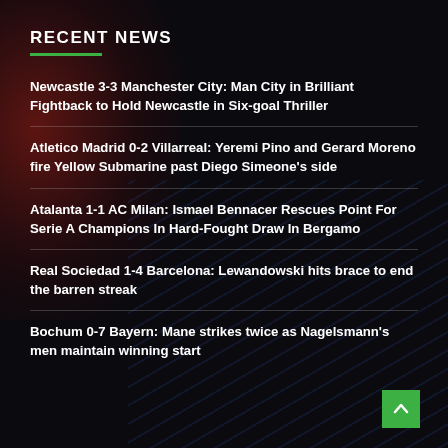RECENT NEWS
Newcastle 3-3 Manchester City: Man City in Brilliant Fightback to Hold Newcastle in Six-goal Thriller
Atletico Madrid 0-2 Villarreal: Yeremi Pino and Gerard Moreno fire Yellow Submarine past Diego Simeone's side
Atalanta 1-1 AC Milan: Ismael Bennacer Rescues Point For Serie A Champions In Hard-Fought Draw In Bergamo
Real Sociedad 1-4 Barcelona: Lewandowski hits brace to end the barren streak
Bochum 0-7 Bayern: Mane strikes twice as Nagelsmann's men maintain winning start